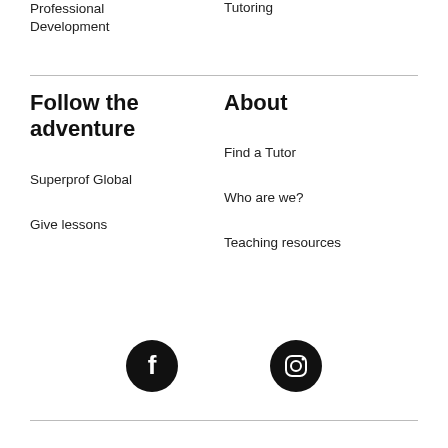Professional Development
Tutoring
Follow the adventure
About
Superprof Global
Find a Tutor
Who are we?
Give lessons
Teaching resources
[Figure (illustration): Dark circular Facebook icon with white 'f' logo]
[Figure (illustration): Dark circular Instagram icon with white camera outline logo]